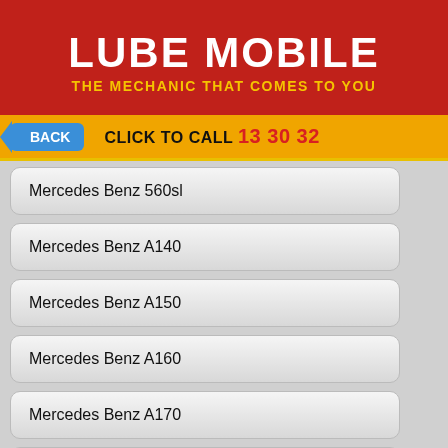[Figure (logo): Lube Mobile logo — red background, white bold text 'LUBE MOBILE', yellow tagline 'THE MECHANIC THAT COMES TO YOU']
BACK   CLICK TO CALL 13 30 32
Mercedes Benz 560sl
Mercedes Benz A140
Mercedes Benz A150
Mercedes Benz A160
Mercedes Benz A170
Mercedes Benz A180
Mercedes Benz A190
Mercedes Benz A200
Mercedes Benz A200d